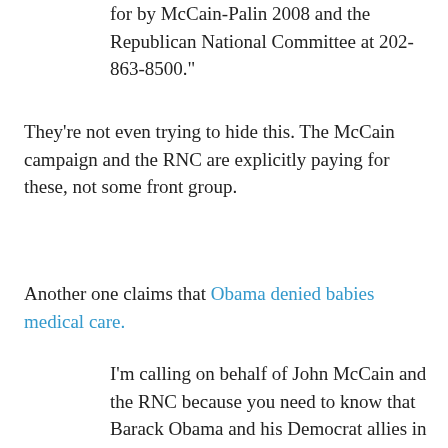for by McCain-Palin 2008 and the Republican National Committee at 202-863-8500."
They're not even trying to hide this. The McCain campaign and the RNC are explicitly paying for these, not some front group.
Another one claims that Obama denied babies medical care.
I'm calling on behalf of John McCain and the RNC because you need to know that Barack Obama and his Democrat allies in the Illinois Senate opposed a bill requiring doctors to care for babies born alive after surviving attempted abortions -- a position at odds even with John Kerry and Hillary Clinton. Barack Obama and his liberal Democrats are too extreme for America. Please vote -- vote for the candidates who share our values. This call was paid for by McCain-Palin 2008 and the Republican National